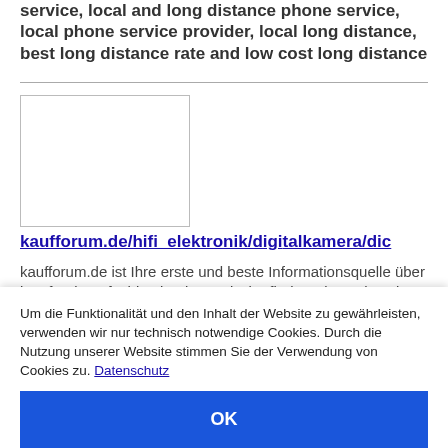service, local and long distance phone service, local phone service provider, local long distance, best long distance rate and low cost long distance
[Figure (other): Empty white rectangle with border (image placeholder)]
kaufforum.de/hifi_elektronik/digitalkamera/dic
kaufforum.de ist Ihre erste und beste Informationsquelle über buy furniture fashion book travel Hier finden Sie auch weitere interessante Links. Wir hoffen, dass Sie bei Ihrer Suche erfolgreich sind!
[Figure (other): Empty white rectangle with border (image placeholder, partially visible)]
Um die Funktionalität und den Inhalt der Website zu gewährleisten, verwenden wir nur technisch notwendige Cookies. Durch die Nutzung unserer Website stimmen Sie der Verwendung von Cookies zu. Datenschutz
OK